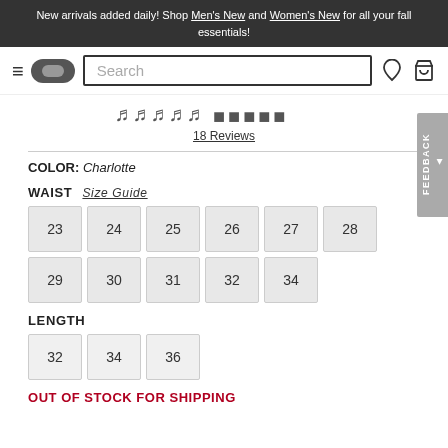New arrivals added daily! Shop Men's New and Women's New for all your fall essentials!
Search
18 Reviews
COLOR: Charlotte
WAIST  Size Guide
23 24 25 26 27 28 29 30 31 32 34
LENGTH
32 34 36
OUT OF STOCK FOR SHIPPING